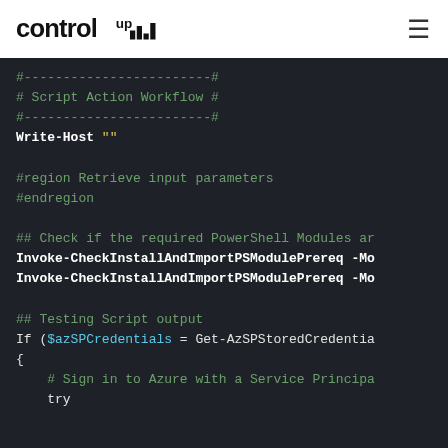ControlUp logo and navigation menu
[Figure (screenshot): Code editor/terminal showing PowerShell script workflow code on dark background. Code includes comment separators, Write-Host, region directives, Invoke-CheckInstallAndImportPSModulePrereq calls, and a Testing Script output section with If statement using $azSPCredentials and Get-AzSPStoredCredentials, plus Sign in to Azure comment and try block.]